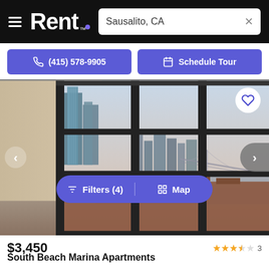Rent. — Sausalito, CA
(415) 578-9905   Schedule Tour
[Figure (photo): Interior apartment window view showing San Francisco skyline, Bay Bridge, and city rooftops below. Large floor-to-ceiling black-framed windows with cityscape panorama.]
Filters (4) | Map
$3,450
South Beach Marina Apartments